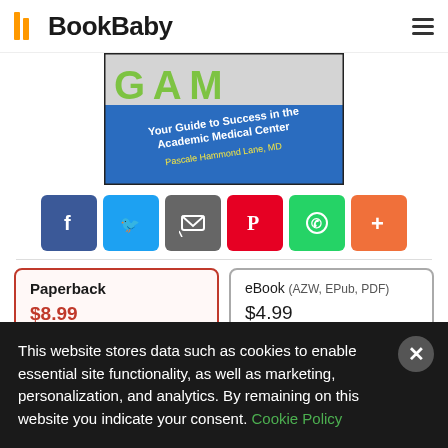BookBaby
[Figure (photo): Cropped book cover showing 'Your Guide to Success in the Academic Medical Center' by Pascale Hammond Lane, MD on a blue background with green title text]
[Figure (infographic): Social sharing buttons row: Facebook (blue), Twitter (blue), Email (gray), Pinterest (red), WhatsApp (green), More/Plus (orange)]
| Paperback | eBook (AZW, EPub, PDF) |
| --- | --- |
| $8.99 | $4.99 |
This website stores data such as cookies to enable essential site functionality, as well as marketing, personalization, and analytics. By remaining on this website you indicate your consent. Cookie Policy